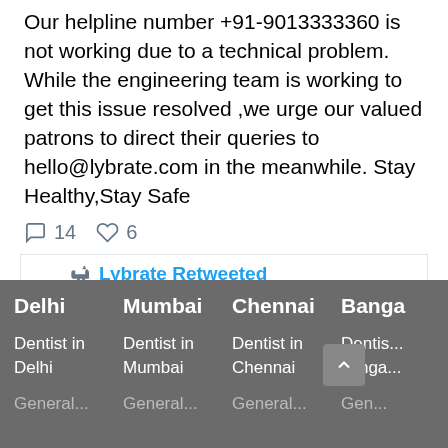Our helpline number +91-9013333360 is not working due to a technical problem. While the engineering team is working to get this issue resolved ,we urge our valued patrons to direct their queries to hello@lybrate.com in the meanwhile. Stay Healthy,Stay Safe
14  6
Lybrate Retweeted
CNBC-TV18 @CNB... · Apr 24, 2020
Amidst the COVID-19 outbreak, a steep rise in mental illness has been reported. How are people coping up?
Delhi  Mumbai  Chennai  Banga...  Dentist in Delhi  Dentist in Mumbai  Dentist in Chennai  Dentis... Janga...  General...  General...  General...  Gen...